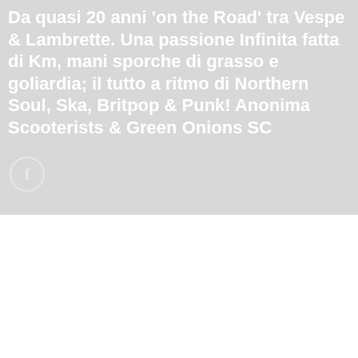Da quasi 20 anni 'on the Road' tra Vespe & Lambrette. Una passione Infinita fatta di Km, mani sporche di grasso e goliardia; il tutto a ritmo di Northern Soul, Ska, Britpop & Punk! Anonima Scooterists & Green Onions SC
[Figure (other): Facebook icon circle button (partially visible)]
Utilizzo i cookie sul mio sito per offrirti l'esperienza più pertinente ricordando le tue preferenze e ripetendo le visite. Cliccando su "Accetta" acconsenti all'uso di TUTTI i cookie.
Leggi
ACCETTO